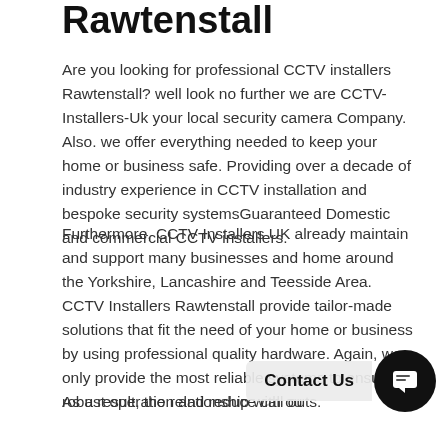Rawtenstall
Are you looking for professional CCTV installers Rawtenstall? well look no further we are CCTV-Installers-Uk your local security camera Company. Also. we offer everything needed to keep your home or business safe. Providing over a decade of industry experience in CCTV installation and bespoke security systemsGuaranteed Domestic and commercial CCTV installers.
Furthermore, CCTV Installers UK already maintain and support many businesses and home around the Yorkshire, Lancashire and Teesside Area. CCTV Installers Rawtenstall provide tailor-made solutions that fit the need of your home or business by using professional quality hardware. Again, we only provide the most reliable systems to ensure robust operation and reduce call outs.
As a result, the relationship with ou... been excellent. Please visit our commercial systems to find out more about what CCTV Installers Rawtenstall can do for you...